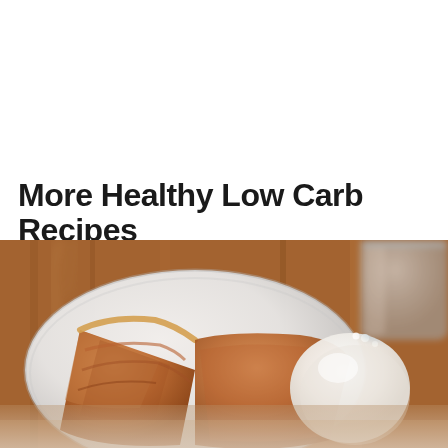More Healthy Low Carb Recipes
[Figure (photo): A slice of pie or baked dessert topped with a scoop of vanilla ice cream, served on a white plate on a wooden surface, with a glass partially visible in the background.]